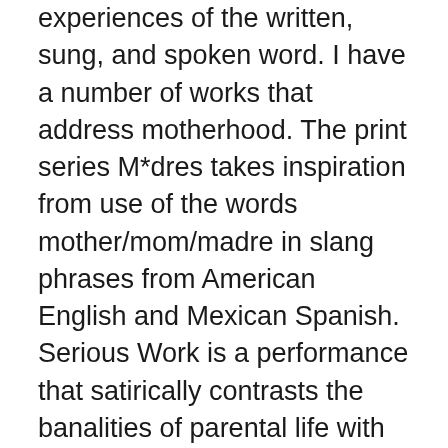experiences of the written, sung, and spoken word. I have a number of works that address motherhood. The print series M*dres takes inspiration from use of the words mother/mom/madre in slang phrases from American English and Mexican Spanish. Serious Work is a performance that satirically contrasts the banalities of parental life with the performance artist persona, using a smartphone as mediator. The video works Don't Explain and Star-Crossed II recontextualize popular music to look at motherhood, mothers' bodies, and abortion through the lens of patriarchal religious traditions and the divine feminine. Julia Barbosa Landois is a performance installation